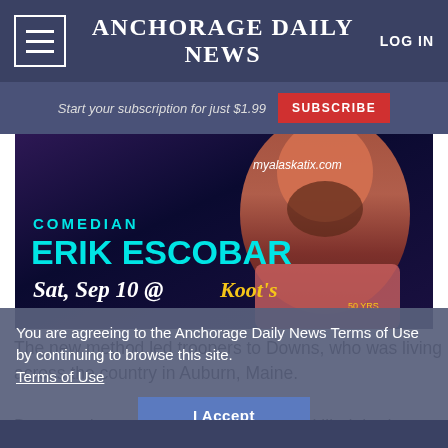ANCHORAGE DAILY NEWS   LOG IN
Start your subscription for just $1.99   SUBSCRIBE
[Figure (photo): Advertisement for Comedian Erik Escobar performing Sat, Sep 10 at Koot's. Website: myalaskatix.com. Image shows a bearded man in a pink shirt.]
The new method led troopers to Downs, who was living across the country in Auburn, Maine.
You are agreeing to the Anchorage Daily News Terms of Use by continuing to browse this site. Terms of Use
Downs, who was 18 when Sergie was killed, had
I Accept